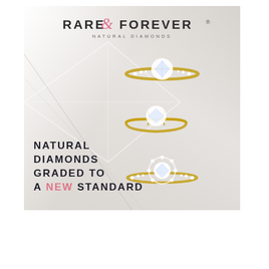[Figure (illustration): Rare & Forever Natural Diamonds advertisement showing three diamond rings on a marble background with geometric lines and the tagline 'Natural Diamonds Graded to a New Standard']